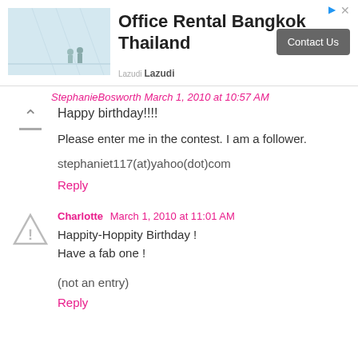[Figure (infographic): Advertisement banner for Office Rental Bangkok Thailand with building interior photo, Lazudi branding, and Contact Us button]
StephanieBosworth March 1, 2010 at 10:57 AM (partial, cut off at top)
Happy birthday!!!!
Please enter me in the contest. I am a follower.
stephaniet117(at)yahoo(dot)com
Reply
Charlotte March 1, 2010 at 11:01 AM
Happity-Hoppity Birthday !
Have a fab one !
(not an entry)
Reply